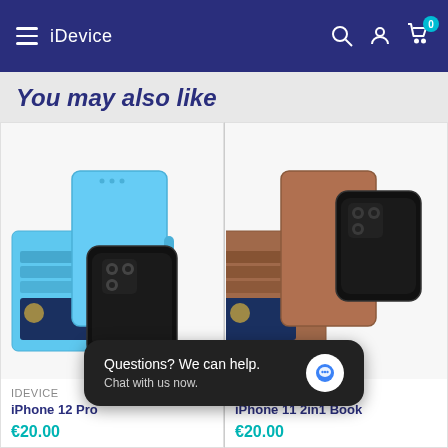iDevice
You may also like
[Figure (photo): Light blue 2-in-1 leather wallet phone case for iPhone 12 Pro, showing detachable phone case and wallet with card slots]
IDEVICE
iPhone 12 Pro
€20.00
[Figure (photo): Brown leather 2-in-1 wallet phone case for iPhone 11, showing detachable phone case and wallet with card slots]
IDEVICE
iPhone 11 2in1 Book
€20.00
Questions? We can help. Chat with us now.